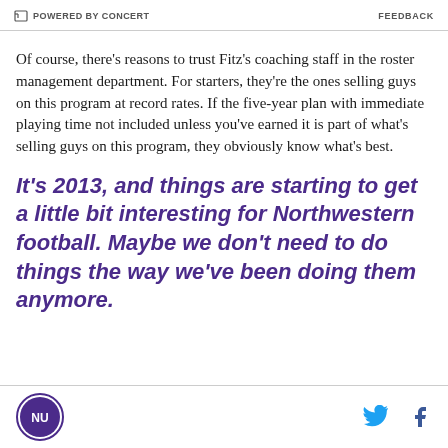POWERED BY CONCERT | FEEDBACK
Of course, there's reasons to trust Fitz's coaching staff in the roster management department. For starters, they're the ones selling guys on this program at record rates. If the five-year plan with immediate playing time not included unless you've earned it is part of what's selling guys on this program, they obviously know what's best.
It's 2013, and things are starting to get a little bit interesting for Northwestern football. Maybe we don't need to do things the way we've been doing them anymore.
NU logo | Twitter | Facebook